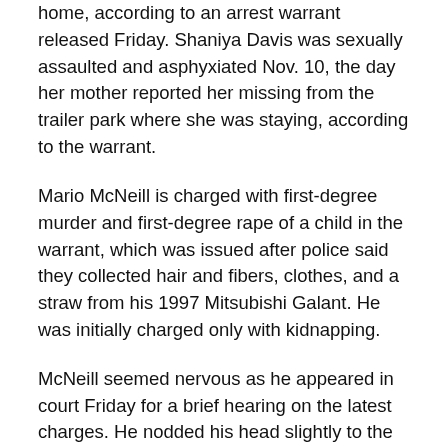home, according to an arrest warrant released Friday. Shaniya Davis was sexually assaulted and asphyxiated Nov. 10, the day her mother reported her missing from the trailer park where she was staying, according to the warrant.
Mario McNeill is charged with first-degree murder and first-degree rape of a child in the warrant, which was issued after police said they collected hair and fibers, clothes, and a straw from his 1997 Mitsubishi Galant. He was initially charged only with kidnapping.
McNeill seemed nervous as he appeared in court Friday for a brief hearing on the latest charges. He nodded his head slightly to the judge's questions but did not enter a plea. His lawyer, Allen Rogers, left the courtroom with his client and didn't speak to reporters. He also didn't return a call left at his office for The Associated P...